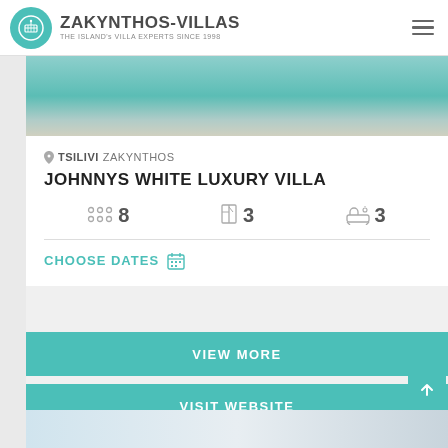ZAKYNTHOS-VILLAS THE ISLAND's VILLA EXPERTS SINCE 1998
[Figure (photo): Aerial view of a white luxury villa swimming pool with an umbrella and pool ladder]
TSILIVI  ZAKYNTHOS
JOHNNYS WHITE LUXURY VILLA
8 guests  3 bedrooms  3 bathrooms
CHOOSE DATES
VIEW MORE
VISIT WEBSITE
[Figure (photo): Bottom portion of another villa photo showing lounge chairs and sky]